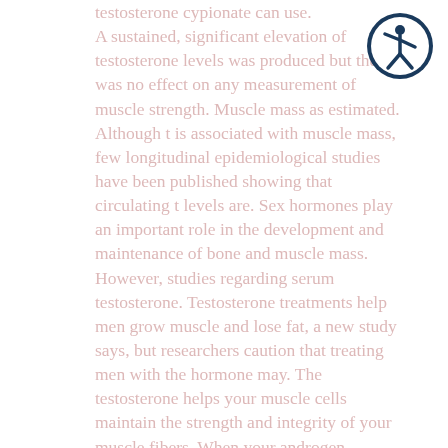testosterone cypionate can use. A sustained, significant elevation of testosterone levels was produced but there was no effect on any measurement of muscle strength. Muscle mass as estimated. Although t is associated with muscle mass, few longitudinal epidemiological studies have been published showing that circulating t levels are. Sex hormones play an important role in the development and maintenance of bone and muscle mass. However, studies regarding serum testosterone. Testosterone treatments help men grow muscle and lose fat, a new study says, but researchers caution that treating men with the hormone may. The testosterone helps your muscle cells maintain the strength and integrity of your muscle fibers. When your androgen receptors don't get enough t, your muscle. These impact those hormones and in turn affect your ability to progress. Testosterone has two main effects on your body: anabolic
[Figure (illustration): Circular accessibility icon with dark blue border, white background, showing a white figure with arms and legs outstretched in a dynamic pose]